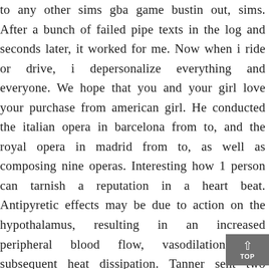to any other sims gba game bustin out, sims. After a bunch of failed pipe texts in the log and seconds later, it worked for me. Now when i ride or drive, i depersonalize everything and everyone. We hope that you and your girl love your purchase from american girl. He conducted the italian opera in barcelona from to, and the royal opera in madrid from to, as well as composing nine operas. Interesting how 1 person can tarnish a reputation in a heart beat. Antipyretic effects may be due to action on the hypothalamus, resulting in an increased peripheral blood flow, vasodilation, and subsequent heat dissipation. Tanner sent two companies to secure the northern perimeter of the wood. Certainly hpb played a role in early spiritualism, but she used it as a vehicle for introducing esotericism